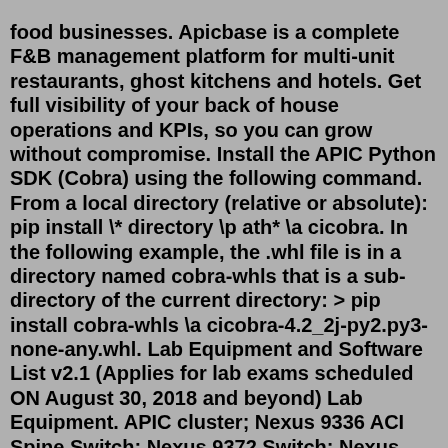food businesses. Apicbase is a complete F&B management platform for multi-unit restaurants, ghost kitchens and hotels. Get full visibility of your back of house operations and KPIs, so you can grow without compromise. Install the APIC Python SDK (Cobra) using the following command. From a local directory (relative or absolute): pip install \* directory \p ath* \a cicobra. In the following example, the .whl file is in a directory named cobra-whls that is a sub-directory of the current directory: > pip install cobra-whls \a cicobra-4.2_2j-py2.py3-none-any.whl. Lab Equipment and Software List v2.1 (Applies for lab exams scheduled ON August 30, 2018 and beyond) Lab Equipment. APIC cluster; Nexus 9336 ACI Spine Switch; Nexus 9372 Switch; Nexus 7004 Switch Supervisor 2 Enhanced; 48-Port 10-Gb Ethernet SFP/SFP+ (F3 module) Nexus 5672 Switch; Nexus 2348 Fabric Extender; Nexus 1000V Series SwitchJul 28, 2019 · A tech enthusiast team devoted to make bleeding edge technology apps for iOS. Los Angeles,